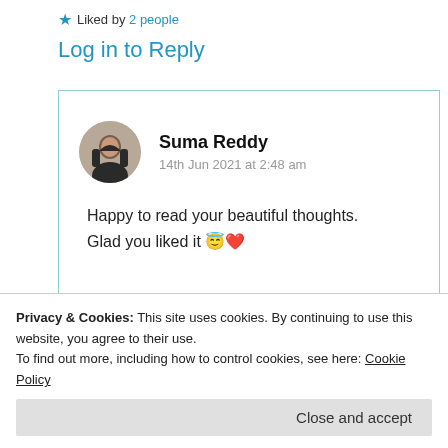★ Liked by 2 people
Log in to Reply
Suma Reddy
14th Jun 2021 at 2:48 am
Happy to read your beautiful thoughts.
Glad you liked it 😇❤
Privacy & Cookies: This site uses cookies. By continuing to use this website, you agree to their use.
To find out more, including how to control cookies, see here: Cookie Policy
Close and accept